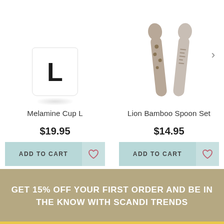[Figure (photo): White melamine cup with bold letter L on it]
Melamine Cup L
$19.95
ADD TO CART
[Figure (photo): Two bamboo spoons with lion/dot pattern handles in beige/grey]
Lion Bamboo Spoon Set
$14.95
ADD TO CART
GET 15% OFF YOUR FIRST ORDER AND BE IN THE KNOW WITH SCANDI TRENDS